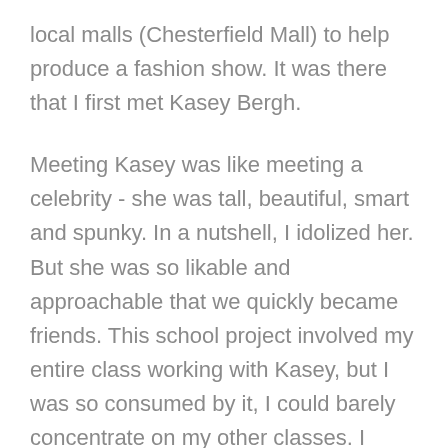local malls (Chesterfield Mall) to help produce a fashion show. It was there that I first met Kasey Bergh.

Meeting Kasey was like meeting a celebrity - she was tall, beautiful, smart and spunky. In a nutshell, I idolized her. But she was so likable and approachable that we quickly became friends. This school project involved my entire class working with Kasey, but I was so consumed by it, I could barely concentrate on my other classes. I loved selecting clothing that coordinated well together, working with the various stores to make sure they were all well represented, being a part of the choreography that is much more than anyone realizes until they